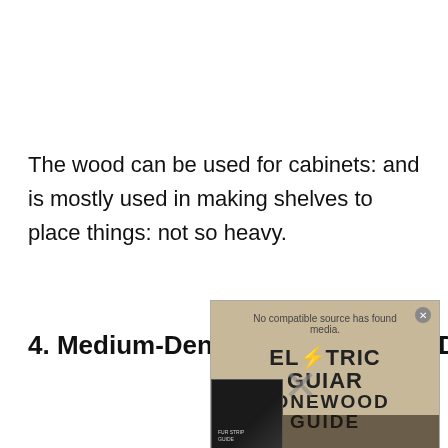The wood can be used for cabinets: and is mostly used in making shelves to place things: not so heavy.
4. Medium-Density Fiberboard (MDF)
[Figure (other): Video/ad overlay showing an Electric Guitar Tonewood Guide advertisement with a large X mark indicating no compatible source found, overlaid on a wood-texture background.]